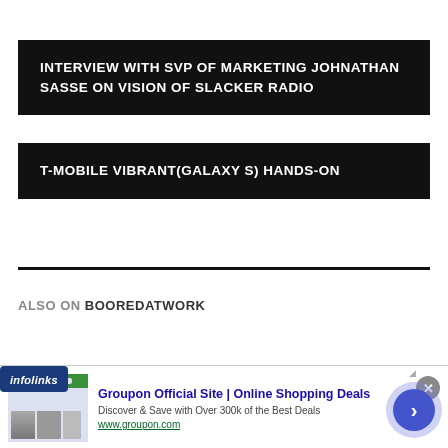INTERVIEW WITH SVP OF MARKETING JOHNATHAN SASSE ON VISION OF SLACKER RADIO
T-MOBILE VIBRANT(GALAXY S) HANDS-ON
ALSO ON BOOREDATWORK
[Figure (screenshot): Infolinks advertisement banner featuring Groupon. Shows 'Groupon Official Site | Online Shopping Deals' with description 'Discover & Save with Over 300k of the Best Deals' and URL www.groupon.com. Includes infolinks badge, close button, and navigation arrow.]